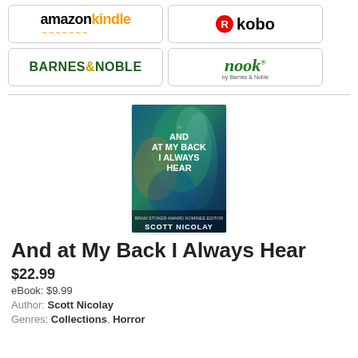[Figure (logo): Amazon Kindle logo]
[Figure (logo): Kobo logo with red R circle]
[Figure (logo): Barnes & Noble logo]
[Figure (logo): Nook by Barnes & Noble logo]
[Figure (photo): Book cover: And at My Back I Always Hear by Scott Nicolay, with abstract blue and green imagery]
And at My Back I Always Hear
$22.99
eBook: $9.99
Author: Scott Nicolay
Genres: Collections, Horror